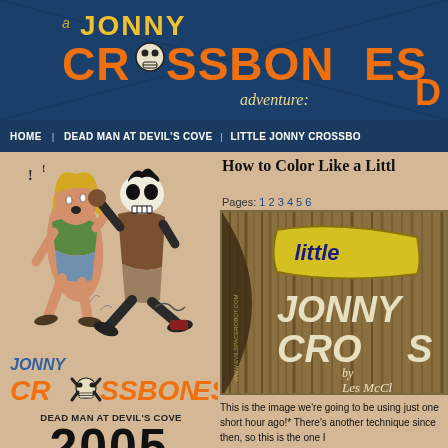a Jonny Crossbones adventure
HOME  DEAD MAN AT DEVIL'S COVE  LITTLE JONNY CROSSBO
How to Color Like a Littl
Pages: 1 2 3 4 5 6
[Figure (illustration): Two comic characters running - a blonde woman in green shirt and a skull-faced character in brown shirt]
[Figure (illustration): Little Jonny Crossbones comic book cover thumbnail with yellow title lettering on dark background, 'by Les McC']
This is the image we're going to be using just one short hour ago!* There's another technique since then, so this is the one I
[Figure (logo): Jonny Crossbones logo - orange stylized text with skull]
DEAD MAN AT DEVIL'S COVE
2005